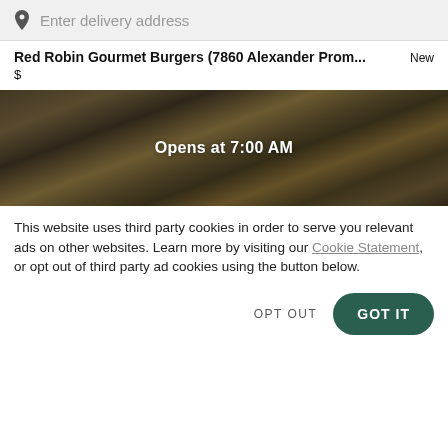Enter delivery address
Red Robin Gourmet Burgers (7860 Alexander Prom...
$
[Figure (photo): Overhead photo of various burgers and fries on a table with dark overlay showing 'Opens at 7:00 AM']
This website uses third party cookies in order to serve you relevant ads on other websites. Learn more by visiting our Cookie Statement, or opt out of third party ad cookies using the button below.
OPT OUT
GOT IT